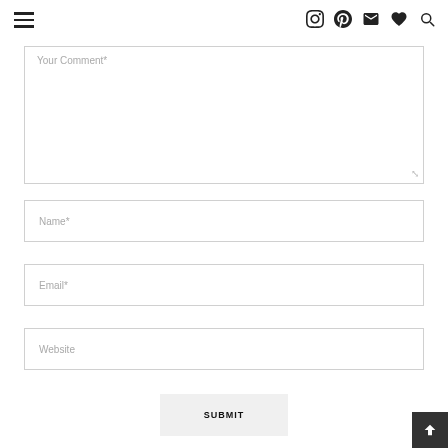Navigation header with hamburger menu and social icons (Instagram, Pinterest, Email, Heart, Search)
Your Comment*
Name*
Email*
Website
SUBMIT